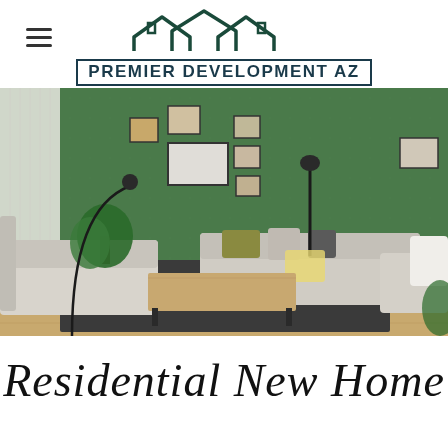[Figure (logo): Premier Development AZ logo with house rooflines above the text]
[Figure (photo): Modern living room with green accent wall, gray sofas, yellow pillow, coffee table, floor lamp, and wall art frames]
Residential New Home